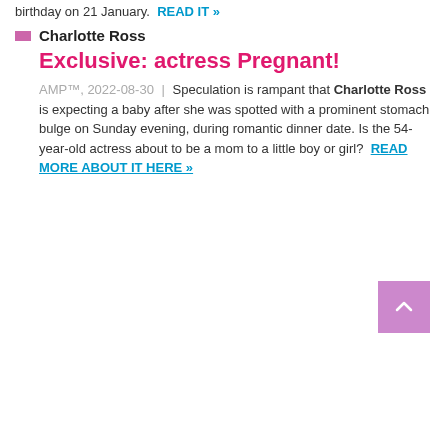birthday on 21 January. READ IT »
Charlotte Ross
Exclusive: actress Pregnant!
AMP™, 2022-08-30 | Speculation is rampant that Charlotte Ross is expecting a baby after she was spotted with a prominent stomach bulge on Sunday evening, during romantic dinner date. Is the 54-year-old actress about to be a mom to a little boy or girl? READ MORE ABOUT IT HERE »
[Figure (other): Purple/lavender back-to-top button with upward chevron arrow]